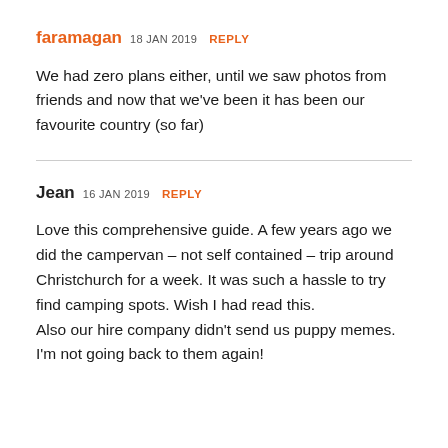faramagan 18 JAN 2019 REPLY
We had zero plans either, until we saw photos from friends and now that we've been it has been our favourite country (so far)
Jean 16 JAN 2019 REPLY
Love this comprehensive guide. A few years ago we did the campervan – not self contained – trip around Christchurch for a week. It was such a hassle to try find camping spots. Wish I had read this.
Also our hire company didn't send us puppy memes. I'm not going back to them again!